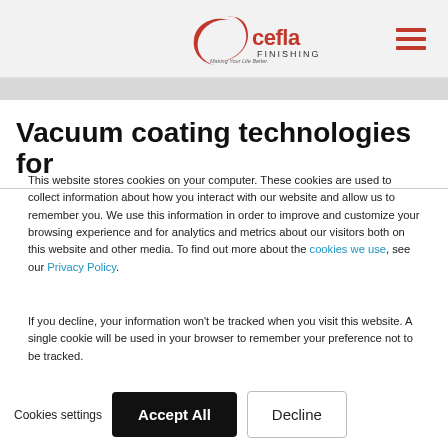[Figure (logo): Cefla Finishing logo with red swoosh/crescent shape, 'cefla' in red text, 'FINISHING' in dark text, tagline 'Making Your Life Better.' below]
Vacuum coating technologies for
This website stores cookies on your computer. These cookies are used to collect information about how you interact with our website and allow us to remember you. We use this information in order to improve and customize your browsing experience and for analytics and metrics about our visitors both on this website and other media. To find out more about the cookies we use, see our Privacy Policy.
If you decline, your information won't be tracked when you visit this website. A single cookie will be used in your browser to remember your preference not to be tracked.
Cookies settings   Accept All   Decline